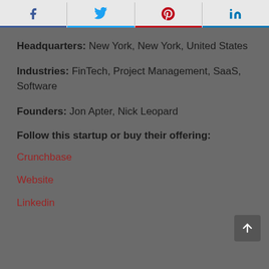f  (twitter bird)  p  in — social share bar
Headquarters: New York, New York, United States
Industries: FinTech, Project Management, SaaS, Software
Founders: Jon Apter, Nick Leopard
Follow this startup or buy their offering:
Crunchbase
Website
Linkedin